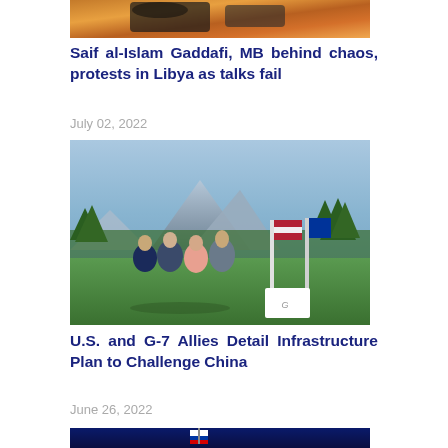[Figure (photo): Partial image at top of page, warm orange/brown tones, partially cropped]
Saif al-Islam Gaddafi, MB behind chaos, protests in Libya as talks fail
July 02, 2022
[Figure (photo): G7 leaders standing outdoors with flags including US and EU flags, mountains and green trees in background]
U.S. and G-7 Allies Detail Infrastructure Plan to Challenge China
June 26, 2022
[Figure (photo): Russian bank building (Bank Rossii) with Russian flag on top against a deep blue sky]
Sanctions on Russia Beginning to First Foreign Default in...